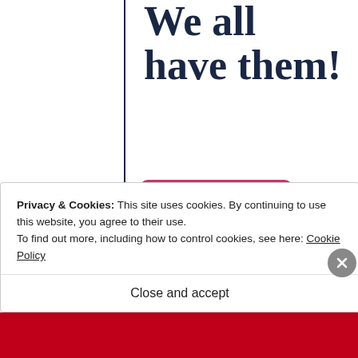We all have them!
[Figure (other): Pink rounded rectangle button labeled 'Start a survey']
Privacy & Cookies: This site uses cookies. By continuing to use this website, you agree to their use.
To find out more, including how to control cookies, see here: Cookie Policy
Close and accept